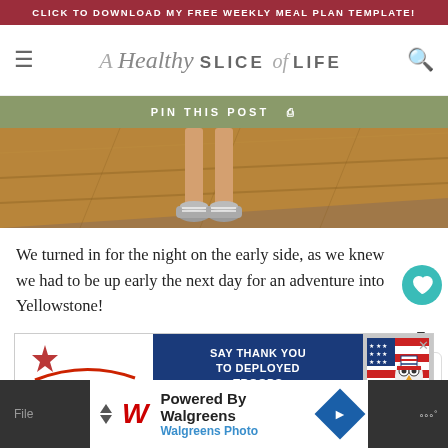CLICK TO DOWNLOAD MY FREE WEEKLY MEAL PLAN TEMPLATE!
[Figure (logo): A Healthy Slice of Life blog logo with hamburger menu and search icon]
PIN THIS POST
[Figure (photo): Close-up photo of person's legs and sneakers standing on wooden plank floor]
We turned in for the night on the early side, as we knew we had to be up early the next day for an adventure into Yellowstone!
[Figure (infographic): Operation Gratitude advertisement: SAY THANK YOU TO DEPLOYED TROOPS]
[Figure (infographic): Powered By Walgreens - Walgreens Photo advertisement]